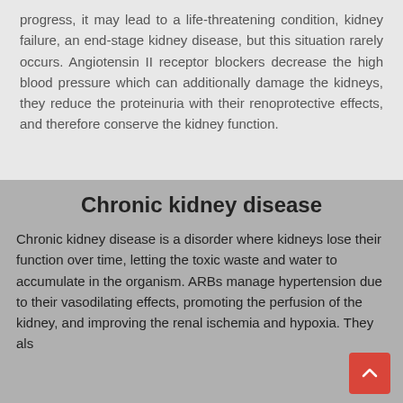progress, it may lead to a life-threatening condition, kidney failure, an end-stage kidney disease, but this situation rarely occurs. Angiotensin II receptor blockers decrease the high blood pressure which can additionally damage the kidneys, they reduce the proteinuria with their renoprotective effects, and therefore conserve the kidney function.
Chronic kidney disease
Chronic kidney disease is a disorder where kidneys lose their function over time, letting the toxic waste and water to accumulate in the organism. ARBs manage hypertension due to their vasodilating effects, promoting the perfusion of the kidney, and improving the renal ischemia and hypoxia. They als